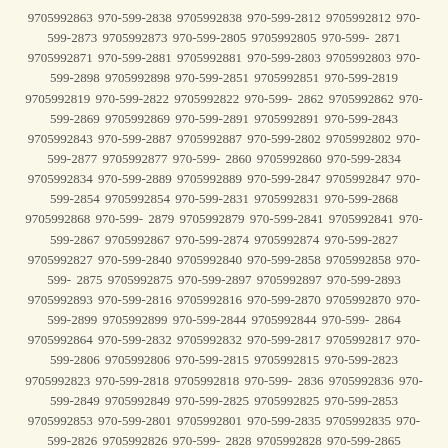9705992863 970-599-2838 9705992838 970-599-2812 9705992812 970-599-2873 9705992873 970-599-2805 9705992805 970-599-2871 9705992871 970-599-2881 9705992881 970-599-2803 9705992803 970-599-2898 9705992898 970-599-2851 9705992851 970-599-2819 9705992819 970-599-2822 9705992822 970-599-2862 9705992862 970-599-2869 9705992869 970-599-2891 9705992891 970-599-2843 9705992843 970-599-2887 9705992887 970-599-2802 9705992802 970-599-2877 9705992877 970-599-2860 9705992860 970-599-2834 9705992834 970-599-2889 9705992889 970-599-2847 9705992847 970-599-2854 9705992854 970-599-2831 9705992831 970-599-2868 9705992868 970-599-2879 9705992879 970-599-2841 9705992841 970-599-2867 9705992867 970-599-2874 9705992874 970-599-2827 9705992827 970-599-2840 9705992840 970-599-2858 9705992858 970-599-2875 9705992875 970-599-2897 9705992897 970-599-2893 9705992893 970-599-2816 9705992816 970-599-2870 9705992870 970-599-2899 9705992899 970-599-2844 9705992844 970-599-2864 9705992864 970-599-2832 9705992832 970-599-2817 9705992817 970-599-2806 9705992806 970-599-2815 9705992815 970-599-2823 9705992823 970-599-2818 9705992818 970-599-2836 9705992836 970-599-2849 9705992849 970-599-2825 9705992825 970-599-2853 9705992853 970-599-2801 9705992801 970-599-2835 9705992835 970-599-2826 9705992826 970-599-2828 9705992828 970-599-2865 9705992865 970-599-2824 9705992824 970-599-2888 9705992888 970-599-2886 9705992886 970-599-2866 9705992866 970-599-2808 9705992808 970-599-2813 9705992813 970-599-2859 9705992859 970-599-2842